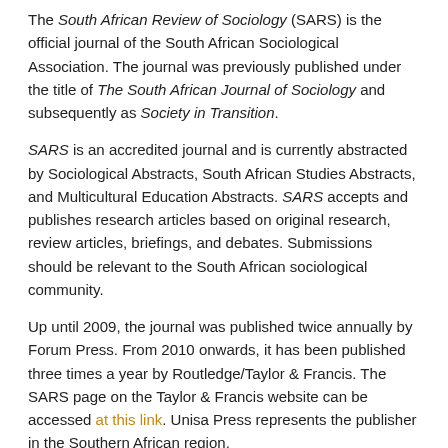The South African Review of Sociology (SARS) is the official journal of the South African Sociological Association. The journal was previously published under the title of The South African Journal of Sociology and subsequently as Society in Transition.
SARS is an accredited journal and is currently abstracted by Sociological Abstracts, South African Studies Abstracts, and Multicultural Education Abstracts. SARS accepts and publishes research articles based on original research, review articles, briefings, and debates. Submissions should be relevant to the South African sociological community.
Up until 2009, the journal was published twice annually by Forum Press. From 2010 onwards, it has been published three times a year by Routledge/Taylor & Francis. The SARS page on the Taylor & Francis website can be accessed at this link. Unisa Press represents the publisher in the Southern African region.